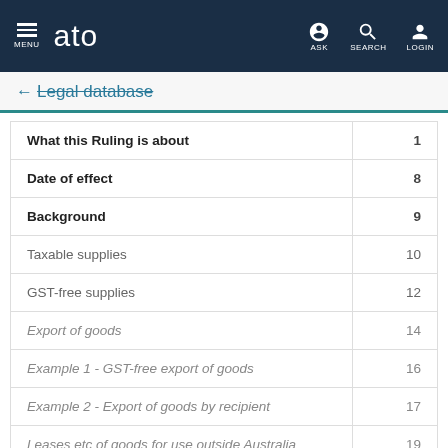MENU  ato  ASK  SEARCH  LOGIN
← Legal database
| Section | Page |
| --- | --- |
| What this Ruling is about | 1 |
| Date of effect | 8 |
| Background | 9 |
| Taxable supplies | 10 |
| GST-free supplies | 12 |
| Export of goods | 14 |
| Example 1 - GST-free export of goods | 16 |
| Example 2 - Export of goods by recipient | 17 |
| Leases etc of goods for use outside Australia | 19 |